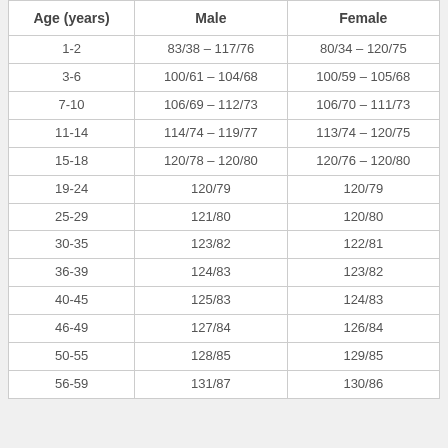| Age (years) | Male | Female |
| --- | --- | --- |
| 1-2 | 83/38 – 117/76 | 80/34 – 120/75 |
| 3-6 | 100/61 – 104/68 | 100/59 – 105/68 |
| 7-10 | 106/69 – 112/73 | 106/70 – 111/73 |
| 11-14 | 114/74 – 119/77 | 113/74 – 120/75 |
| 15-18 | 120/78 – 120/80 | 120/76 – 120/80 |
| 19-24 | 120/79 | 120/79 |
| 25-29 | 121/80 | 120/80 |
| 30-35 | 123/82 | 122/81 |
| 36-39 | 124/83 | 123/82 |
| 40-45 | 125/83 | 124/83 |
| 46-49 | 127/84 | 126/84 |
| 50-55 | 128/85 | 129/85 |
| 56-59 | 131/87 | 130/86 |